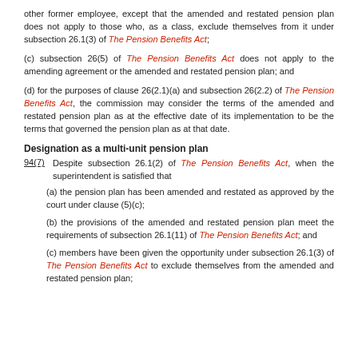other former employee, except that the amended and restated pension plan does not apply to those who, as a class, exclude themselves from it under subsection 26.1(3) of The Pension Benefits Act;
(c) subsection 26(5) of The Pension Benefits Act does not apply to the amending agreement or the amended and restated pension plan; and
(d) for the purposes of clause 26(2.1)(a) and subsection 26(2.2) of The Pension Benefits Act, the commission may consider the terms of the amended and restated pension plan as at the effective date of its implementation to be the terms that governed the pension plan as at that date.
Designation as a multi-unit pension plan
94(7)   Despite subsection 26.1(2) of The Pension Benefits Act, when the superintendent is satisfied that
(a) the pension plan has been amended and restated as approved by the court under clause (5)(c);
(b) the provisions of the amended and restated pension plan meet the requirements of subsection 26.1(11) of The Pension Benefits Act; and
(c) members have been given the opportunity under subsection 26.1(3) of The Pension Benefits Act to exclude themselves from the amended and restated pension plan;